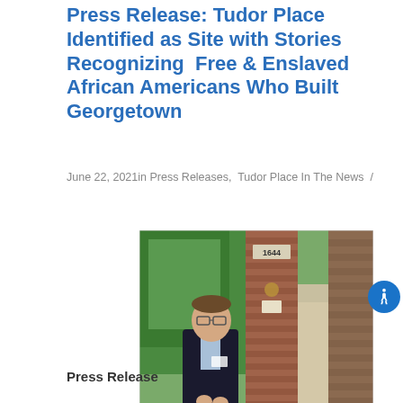Press Release: Tudor Place Identified as Site with Stories Recognizing Free & Enslaved African Americans Who Built Georgetown
June 22, 2021in Press Releases, Tudor Place In The News /
[Figure (photo): A man in a dark suit stands beside a brick pillar with the address number 1644, at the entrance to Tudor Place, surrounded by lush green trees and a brick pathway.]
Press Release